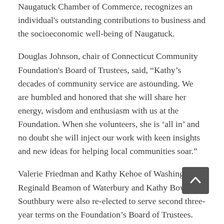Naugatuck Chamber of Commerce, recognizes an individual's outstanding contributions to business and the socioeconomic well-being of Naugatuck.
Douglas Johnson, chair of Connecticut Community Foundation's Board of Trustees, said, "Kathy's decades of community service are astounding. We are humbled and honored that she will share her energy, wisdom and enthusiasm with us at the Foundation. When she volunteers, she is 'all in' and no doubt she will inject our work with keen insights and new ideas for helping local communities soar."
Valerie Friedman and Kathy Kehoe of Washington, Reginald Beamon of Waterbury and Kathy Bower of Southbury were also re-elected to serve second three-year terms on the Foundation's Board of Trustees.